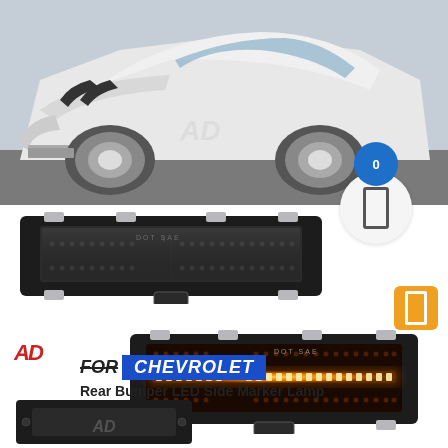[Figure (photo): White Chevrolet Camaro sports car photo at top of product listing page]
[Figure (photo): LED side marker lamp shown off (black housing, dark lens, DOT SAE markings)]
[Figure (photo): LED side marker lamp shown on with amber/orange LED strip illuminated]
[Figure (photo): Small partial view of LED side marker lamp at bottom left]
FOR CHEVROLET
Rear Bumper LED Side Marker Lamp